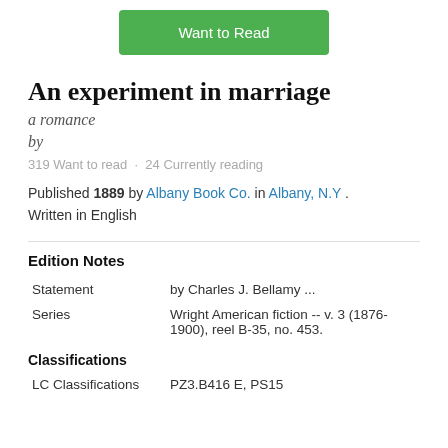[Figure (other): Green 'Want to Read' button]
An experiment in marriage
a romance
by
319 Want to read · 24 Currently reading
Published 1889 by Albany Book Co. in Albany, N.Y . Written in English
Edition Notes
| Statement | by Charles J. Bellamy ... |
| Series | Wright American fiction -- v. 3 (1876-1900), reel B-35, no. 453. |
Classifications
| LC Classifications | PZ3.B416 E, PS15 |